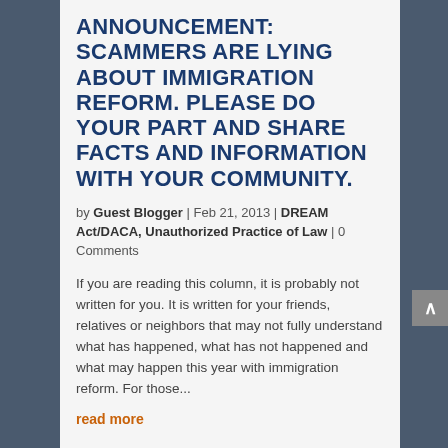ANNOUNCEMENT: SCAMMERS ARE LYING ABOUT IMMIGRATION REFORM. PLEASE DO YOUR PART AND SHARE FACTS AND INFORMATION WITH YOUR COMMUNITY.
by Guest Blogger | Feb 21, 2013 | DREAM Act/DACA, Unauthorized Practice of Law | 0 Comments
If you are reading this column, it is probably not written for you.  It is written for your friends, relatives or neighbors that may not fully understand what has happened, what has not happened and what may happen this year with immigration reform.  For those...
read more